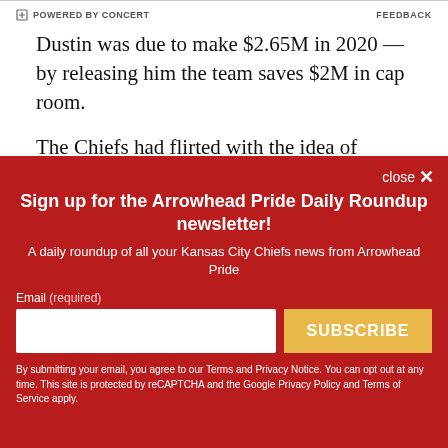POWERED BY CONCERT   FEEDBACK
Dustin was due to make $2.65M in 2020 — by releasing him the team saves $2M in cap room.
The Chiefs had flirted with the idea of releasing Dustin for a season or two, often welcoming punter
Sign up for the Arrowhead Pride Daily Roundup newsletter!
A daily roundup of all your Kansas City Chiefs news from Arrowhead Pride
Email (required)
SUBSCRIBE
By submitting your email, you agree to our Terms and Privacy Notice. You can opt out at any time. This site is protected by reCAPTCHA and the Google Privacy Policy and Terms of Service apply.